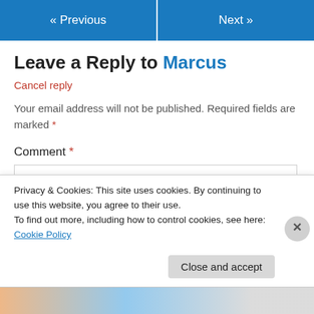« Previous    Next »
Leave a Reply to Marcus
Cancel reply
Your email address will not be published. Required fields are marked *
Comment *
Privacy & Cookies: This site uses cookies. By continuing to use this website, you agree to their use.
To find out more, including how to control cookies, see here: Cookie Policy
Close and accept